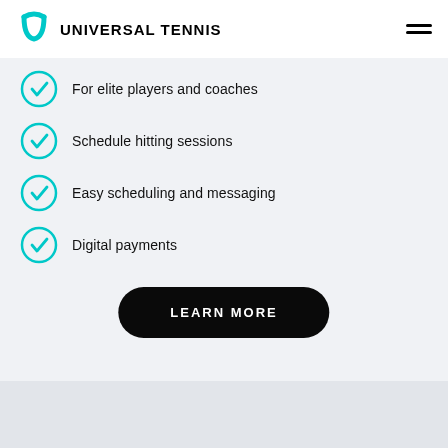UNIVERSAL TENNIS
For elite players and coaches
Schedule hitting sessions
Easy scheduling and messaging
Digital payments
LEARN MORE